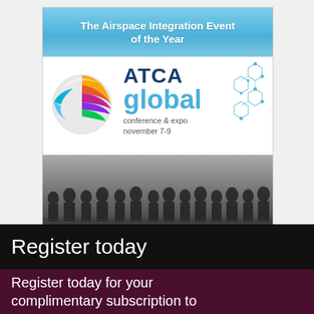[Figure (infographic): ATCA Global Conference & Expo advertisement banner. Shows sky-blue gradient header with text 'The Airspace Integration Event of the Year', a colorful globe logo, ATCA global branding, 'conference & expo november 7-9', circuit board decorative pattern, and a crowd photo of attendees.]
Register today
Register today for your complimentary subscription to